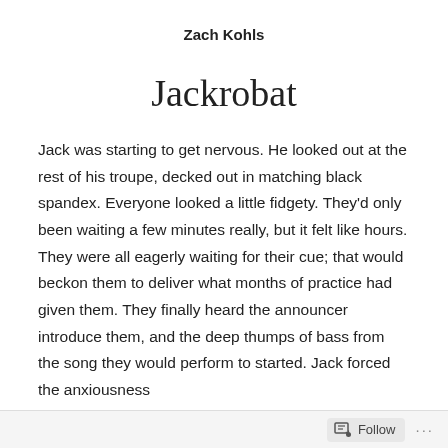Zach Kohls
Jackrobat
Jack was starting to get nervous. He looked out at the rest of his troupe, decked out in matching black spandex. Everyone looked a little fidgety. They'd only been waiting a few minutes really, but it felt like hours. They were all eagerly waiting for their cue; that would beckon them to deliver what months of practice had given them. They finally heard the announcer introduce them, and the deep thumps of bass from the song they would perform to started. Jack forced the anxiousness
Follow